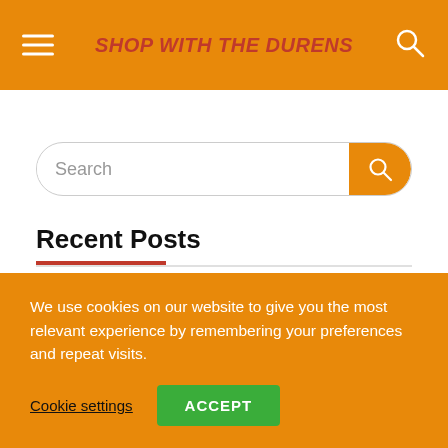SHOP WITH THE DURENS
[Figure (screenshot): Search input bar with orange search button]
Recent Posts
Pixel 6a unlocked drops to $399 — its cheapest price yet
We use cookies on our website to give you the most relevant experience by remembering your preferences and repeat visits.
Cookie settings  ACCEPT